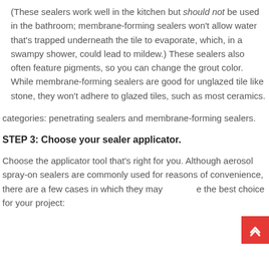(These sealers work well in the kitchen but should not be used in the bathroom; membrane-forming sealers won't allow water that's trapped underneath the tile to evaporate, which, in a swampy shower, could lead to mildew.) These sealers also often feature pigments, so you can change the grout color. While membrane-forming sealers are good for unglazed tile like stone, they won't adhere to glazed tiles, such as most ceramics.
categories: penetrating sealers and membrane-forming sealers.
STEP 3: Choose your sealer applicator.
Choose the applicator tool that's right for you. Although aerosol spray-on sealers are commonly used for reasons of convenience, there are a few cases in which they may not be the best choice for your project: